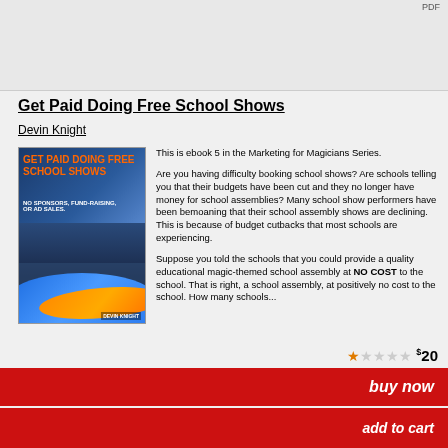PDF
Get Paid Doing Free School Shows
Devin Knight
[Figure (illustration): Book cover for 'Get Paid Doing Free School Shows' by Devin Knight. Orange bold text title on dark blue/teal background with image of school stage and swoosh design elements.]
This is ebook 5 in the Marketing for Magicians Series.

Are you having difficulty booking school shows? Are schools telling you that their budgets have been cut and they no longer have money for school assemblies? Many school show performers have been bemoaning that their school assembly shows are declining. This is because of budget cutbacks that most schools are experiencing.

Suppose you told the schools that you could provide a quality educational magic-themed school assembly at NO COST to the school. That is right, a school assembly, at positively no cost to the school. How many schools...
$20
buy now
add to cart